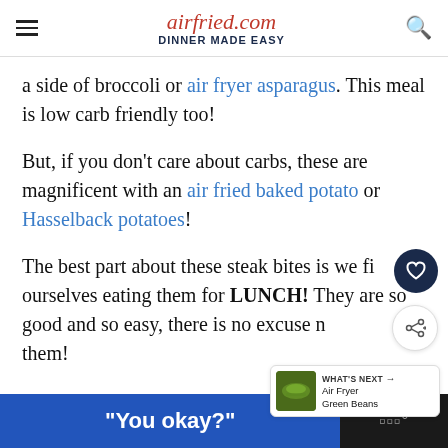airfried.com DINNER MADE EASY
a side of broccoli or air fryer asparagus. This meal is low carb friendly too!
But, if you don't care about carbs, these are magnificent with an air fried baked potato or Hasselback potatoes!
The best part about these steak bites is we find ourselves eating them for LUNCH! They are so good and so easy, there is no excuse not to make them!
[Figure (screenshot): "You okay?" ad banner at the bottom of the page with a dark background]
[Figure (infographic): What's Next widget showing Air Fryer Green Beans thumbnail]